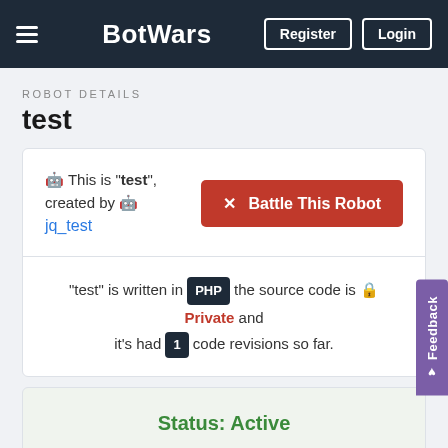BotWars — Register | Login
ROBOT DETAILS
test
🤖 This is "test", created by 🤖 jq_test
✕ Battle This Robot
"test" is written in PHP the source code is 🔒 Private and it's had 1 code revisions so far.
Status: Active
62 Global Rank